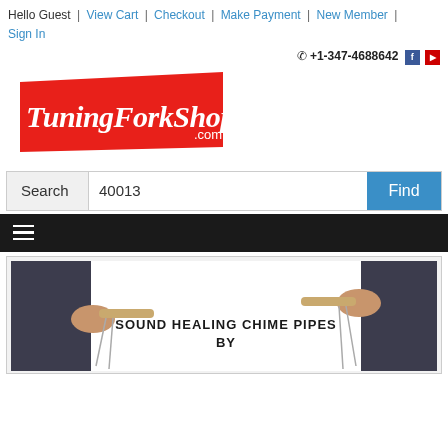Hello Guest | View Cart | Checkout | Make Payment | New Member | Sign In
☎ +1-347-4688642
[Figure (logo): TuningForkShop.com logo — red diagonal banner with white italic text]
Search  40013  Find
[Figure (photo): Product photo showing two people holding tuning fork chime pipes. Text overlay reads: SOUND HEALING CHIME PIPES BY]